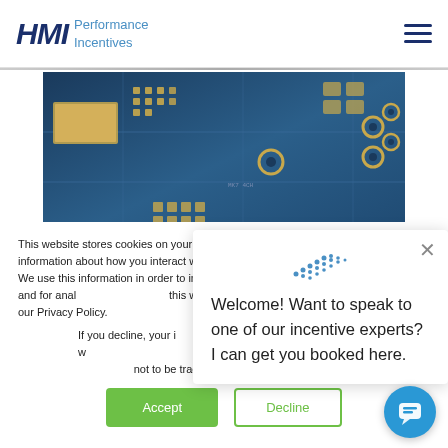HMI Performance Incentives
[Figure (photo): Close-up photo of a blue circuit board with gold solder pads and electronic components]
This website stores cookies on your computer. These cookies are used to collect information about how you interact with our website and allow us to remember you. We use this information in order to improve and customize your browsing experience and for analytics and metrics about our visitors both on this website and other media. To find out more about the cookies we use, see our Privacy Policy.
If you decline, your information won't be tracked when you visit this website. A single cookie will be used in your browser to remember your preference not to be tracked.
[Figure (screenshot): Chat widget popup with dot-pattern logo reading: Welcome! Want to speak to one of our incentive experts? I can get you booked here.]
Accept
Decline